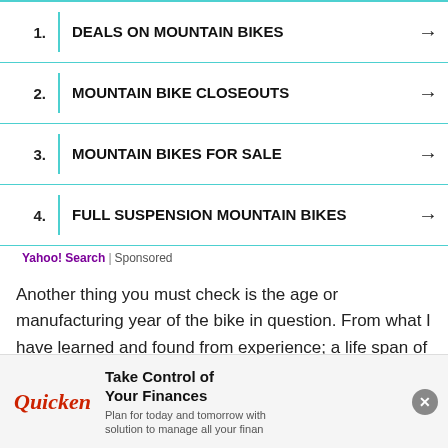1. DEALS ON MOUNTAIN BIKES →
2. MOUNTAIN BIKE CLOSEOUTS →
3. MOUNTAIN BIKES FOR SALE →
4. FULL SUSPENSION MOUNTAIN BIKES →
Yahoo! Search | Sponsored
Another thing you must check is the age or manufacturing year of the bike in question. From what I have learned and found from experience; a life span of 1-2 years is decent for rental bikes.
For any reason if its more than 3 its truly in a bad condition
[Figure (infographic): Quicken advertisement: Take Control of Your Finances. Plan for today and tomorrow with solution to manage all your finan...]